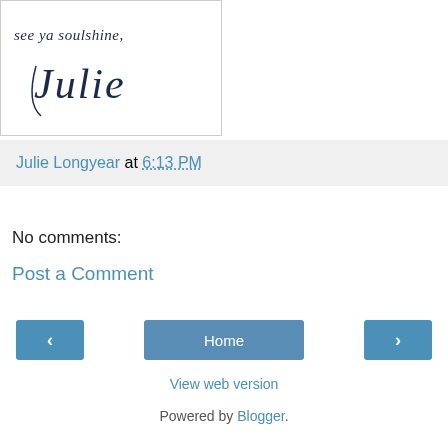[Figure (illustration): Handwritten signature image reading 'see ya soulshine, Julie' in dark navy cursive script on white background with a light gray border]
Julie Longyear at 6:13 PM
No comments:
Post a Comment
‹  Home  ›
View web version
Powered by Blogger.